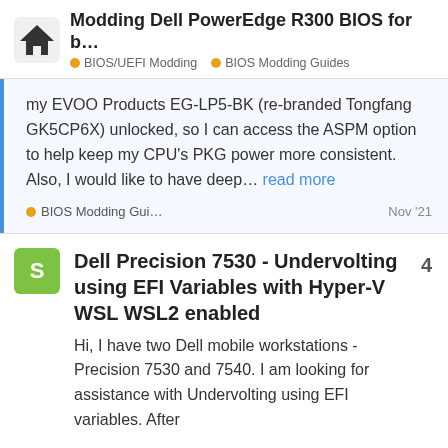Modding Dell PowerEdge R300 BIOS for b... | BIOS/UEFI Modding | BIOS Modding Guides
my EVOO Products EG-LP5-BK (re-branded Tongfang GK5CP6X) unlocked, so I can access the ASPM option to help keep my CPU's PKG power more consistent. Also, I would like to have deep… read more
BIOS Modding Gui...  Nov '21
Dell Precision 7530 - Undervolting using EFI Variables with Hyper-V WSL WSL2 enabled
Hi, I have two Dell mobile workstations - Precision 7530 and 7540. I am looking for assistance with Undervolting using EFI variables. After